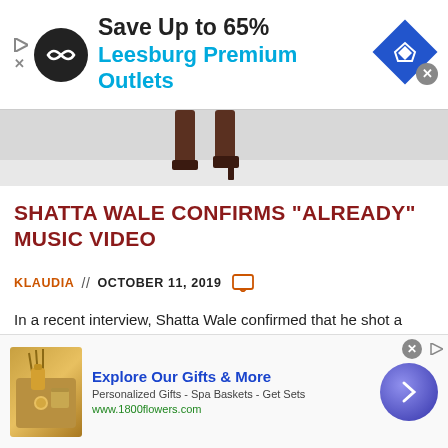[Figure (screenshot): Top advertisement banner: Save Up to 65% Leesburg Premium Outlets with logo and navigation arrow icon]
[Figure (photo): Cropped photo showing legs/boots of a person, likely a music video still]
SHATTA WALE CONFIRMS "ALREADY" MUSIC VIDEO
KLAUDIA // OCTOBER 11, 2019
In a recent interview, Shatta Wale confirmed that he shot a music video for "Already" with Beyonce in the US. Can't wait!
READ MORE →
[Figure (screenshot): Bottom advertisement banner: Explore Our Gifts & More - 1800flowers.com, Personalized Gifts - Spa Baskets - Get Sets]